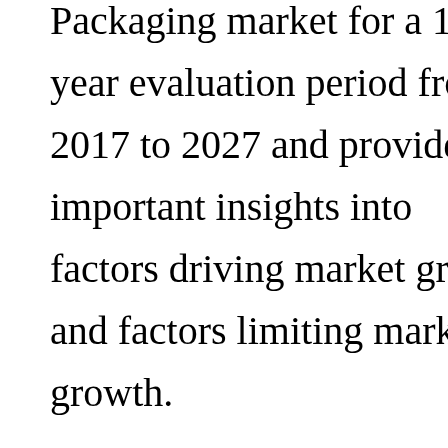Packaging market for a 10-year evaluation period from 2017 to 2027 and provides important insights into factors driving market growth and factors limiting market growth.

According to an assessment by Future